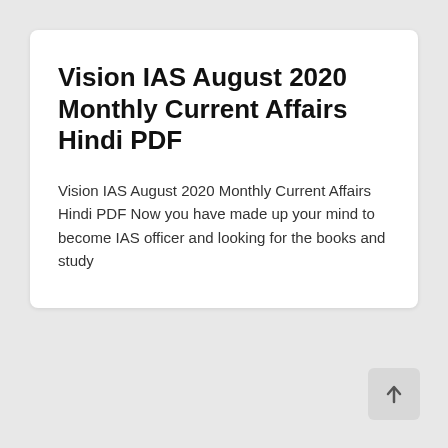Vision IAS August 2020 Monthly Current Affairs Hindi PDF
Vision IAS August 2020 Monthly Current Affairs Hindi PDF Now you have made up your mind to become IAS officer and looking for the books and study